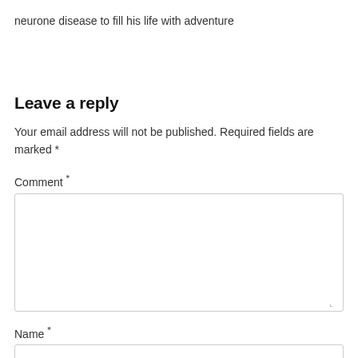neurone disease to fill his life with adventure
Leave a reply
Your email address will not be published. Required fields are marked *
Comment *
Name *